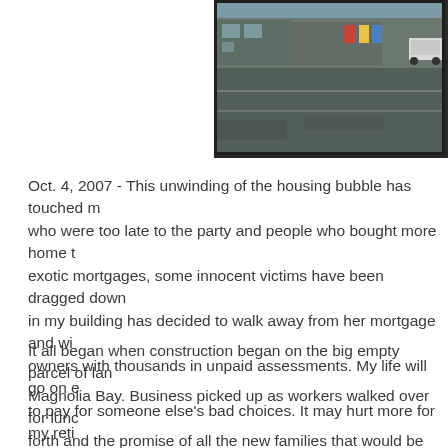[Figure (photo): Street-level photo of a small commercial strip mall / store with a parking lot in the foreground, taken at dusk or overcast conditions. Buildings are visible with signage; a vehicle is parked on the right side.]
Oct. 4, 2007 - This unwinding of the housing bubble has touched m... who were too late to the party and people who bought more home t... exotic mortgages, some innocent victims have been dragged down... in my building has decided to walk away from her mortgage and wi... owners with thousands in unpaid assessments. My life will go on e... to pay for someone else's bad choices. It may hurt more for my reti... heartbreaking is the impact on the decent people who run the smal... home. They didn't speculate on pre-construction condos or try to fli... have been changed forever.
It all began when construction began on the big empty parcel of lan... Magnolia Bay. Business picked up as workers walked over for lunc... forth and the promise of all the new families that would be moving i... Shortly thereafter, the trailer park next door that housed the ki...